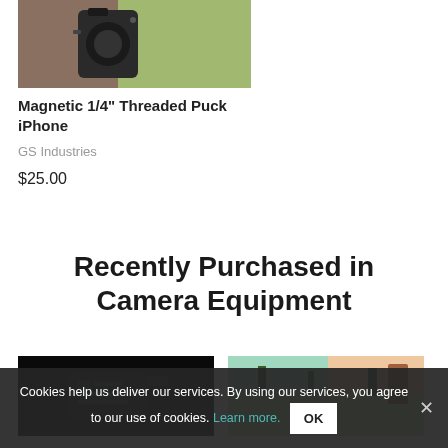[Figure (photo): Product photo of Magnetic 1/4 inch Threaded Puck iPhone accessory against an outdoor background]
Magnetic 1/4" Threaded Puck iPhone
GS Industries
$25.00
Recently Purchased in Camera Equipment
[Figure (photo): Dark product photo on black background showing camera accessory]
[Figure (photo): Outdoor colorful scene with trees and sky]
Cookies help us deliver our services. By using our services, you agree to our use of cookies. Learn more. OK